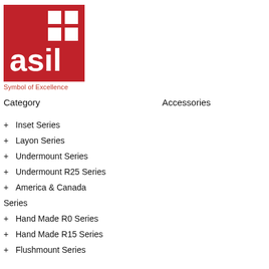[Figure (logo): ASIL logo — red square background with white grid of four squares and white bold text 'asil' at bottom left]
Symbol of Excellence
Category
Accessories
+ Inset Series
+ Layon Series
+ Undermount Series
+ Undermount R25 Series
+ America & Canada Series
+ Hand Made R0 Series
+ Hand Made R15 Series
+ Flushmount Series